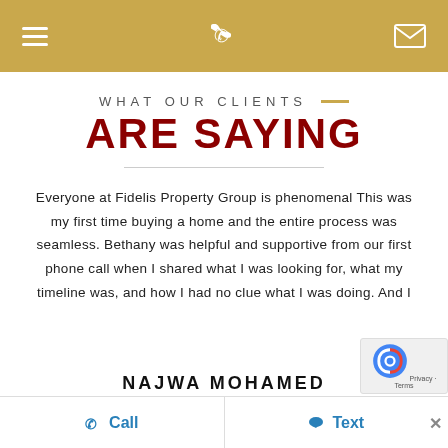Navigation header with hamburger menu, phone icon, and mail icon on gold background
WHAT OUR CLIENTS — ARE SAYING
Everyone at Fidelis Property Group is phenomenal This was my first time buying a home and the entire process was seamless. Bethany was helpful and supportive from our first phone call when I shared what I was looking for, what my timeline was, and how I had no clue what I was doing. And I
NAJWA MOHAMED
Call   Text   ×